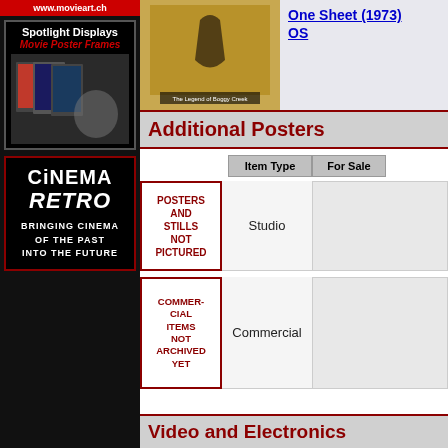[Figure (logo): www.movieart.ch banner in red]
[Figure (photo): Spotlight Displays Movie Poster Frames advertisement with movie poster frames photos]
[Figure (logo): Cinema Retro - Bringing Cinema of the Past Into the Future advertisement]
[Figure (photo): The Legend of Boggy Creek movie poster thumbnail (1973)]
One Sheet (1973) OS
Additional Posters
|  | Item Type | For Sale |
| --- | --- | --- |
| POSTERS AND STILLS NOT PICTURED | Studio |  |
| COMMER-CIAL ITEMS NOT ARCHIVED YET | Commercial |  |
Video and Electronics